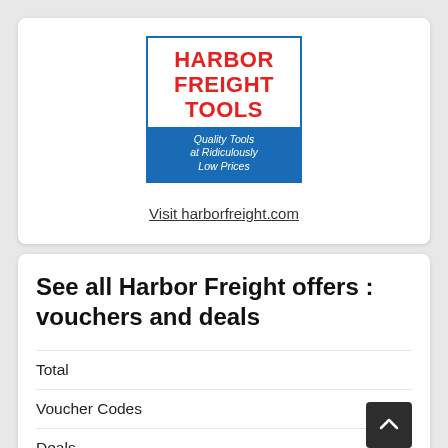[Figure (logo): Harbor Freight Tools logo: red text on white background with blue banner reading 'Quality Tools at Ridiculously Low Prices']
Visit harborfreight.com
See all Harbor Freight offers : vouchers and deals
|  |  |
| --- | --- |
| Total |  |
| Voucher Codes |  |
| Deals | 13 |
| Top Discount | 58% |